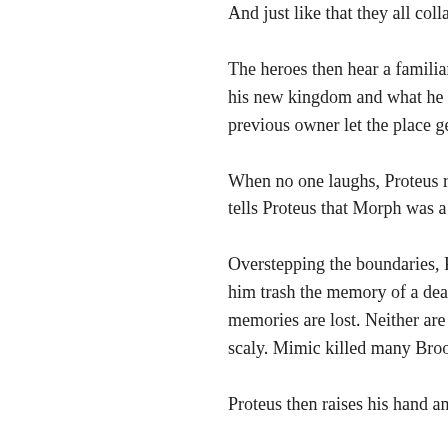And just like that they all collapse back t
The heroes then hear a familiar voice ca faces. Proteus then walks out of the pal his new kingdom and what he has done owner, whose body is high up and held previous owner let the place get musty.
When no one laughs, Proteus realizes t trouble getting a laugh out of them. It is tells Proteus that Morph was a decent m him left.
Overstepping the boundaries, Proteus s better. Blink readies a teleportation arro him trash the memory of a dead man. P within Proteus. So does Morph. They al memories are lost. Neither are his feelin would never have killed all these people scaly. Mimic killed many Brood on the m lost count.
Proteus then raises his hand and the to